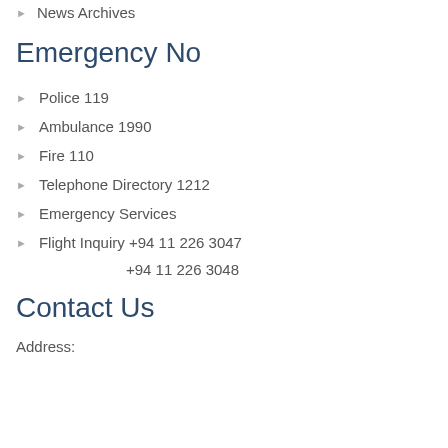News Archives
Emergency No
Police 119
Ambulance 1990
Fire 110
Telephone Directory 1212
Emergency Services
Flight Inquiry +94 11 226 3047
+94 11 226 3048
Contact Us
Address: